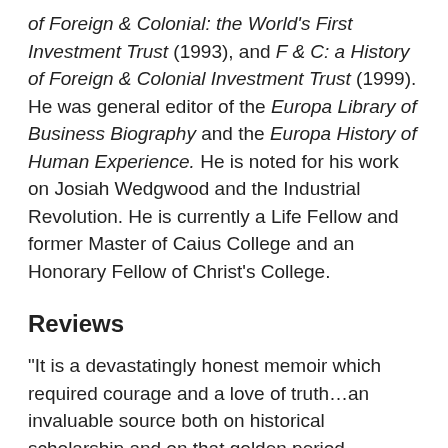of Foreign & Colonial: the World's First Investment Trust (1993), and F & C: a History of Foreign & Colonial Investment Trust (1999). He was general editor of the Europa Library of Business Biography and the Europa History of Human Experience. He is noted for his work on Josiah Wedgwood and the Industrial Revolution. He is currently a Life Fellow and former Master of Caius College and an Honorary Fellow of Christ's College.
Reviews
"It is a devastatingly honest memoir which required courage and a love of truth…an invaluable source both on historical scholarship and on that golden period between 1946 and the 1990s when English universities exercised cultural leadership and commanded political and popular